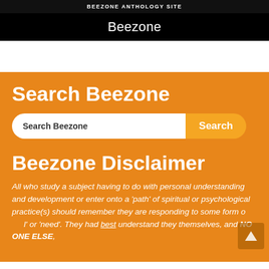BEEZONE ANTHOLOGY SITE
Beezone
Search Beezone
[Figure (screenshot): Search bar with text 'Search Beezone' and a 'Search' button]
Beezone Disclaimer
All who study a subject having to do with personal understanding and development or enter onto a 'path' of spiritual or psychological practice(s) should remember they are responding to some form of 'call' or 'need'. They had best understand they themselves, and NO ONE ELSE,